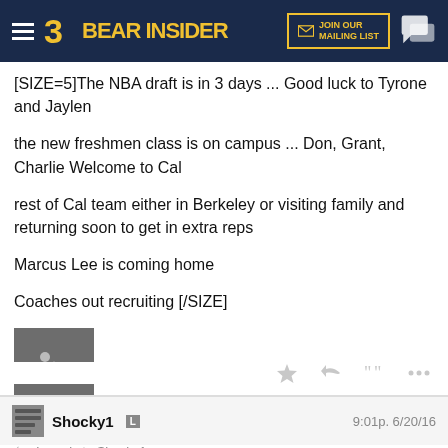Bear Insider — JOIN OUR MAILING LIST
[SIZE=5]The NBA draft is in 3 days ... Good luck to Tyrone and Jaylen

the new freshmen class is on campus ... Don, Grant, Charlie Welcome to Cal

rest of Cal team either in Berkeley or visiting family and returning soon to get in extra reps

Marcus Lee is coming home

Coaches out recruiting [/SIZE]
[Figure (photo): Image placeholder icon (grey square with mountain/photo icon)]
Shocky1  L   9:01p. 6/20/16
In reply to Shocky1
exclusive cal's monster class foto of young ivee & his friend ronald from back in the day